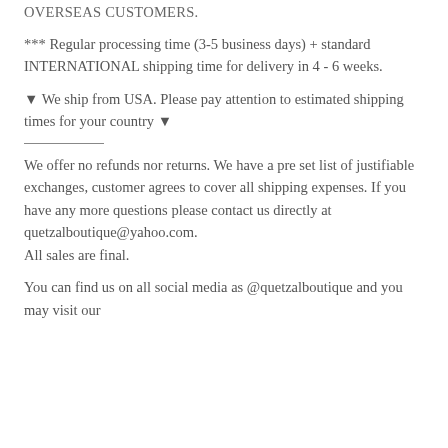OVERSEAS CUSTOMERS.
*** Regular processing time (3-5 business days) + standard INTERNATIONAL shipping time for delivery in 4 - 6 weeks.
▼ We ship from USA. Please pay attention to estimated shipping times for your country ▼
We offer no refunds nor returns. We have a pre set list of justifiable exchanges, customer agrees to cover all shipping expenses. If you have any more questions please contact us directly at quetzalboutique@yahoo.com.
All sales are final.
You can find us on all social media as @quetzalboutique and you may visit our